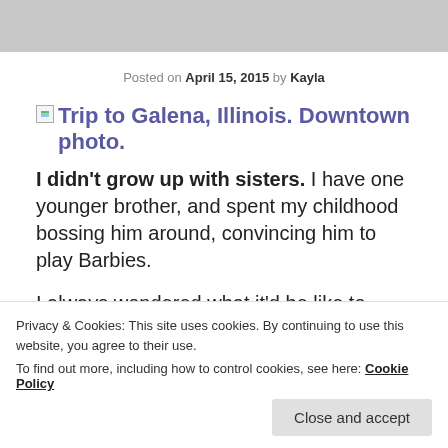Posted on April 15, 2015 by Kayla
[Figure (photo): Broken image placeholder with alt text: Trip to Galena, Illinois. Downtown photo.]
I didn't grow up with sisters. I have one younger brother, and spent my childhood bossing him around, convincing him to play Barbies.
I always wondered what it'd be like to have a sister. Could I borrow clothes from her? Would we braid
Privacy & Cookies: This site uses cookies. By continuing to use this website, you agree to their use. To find out more, including how to control cookies, see here: Cookie Policy
Close and accept